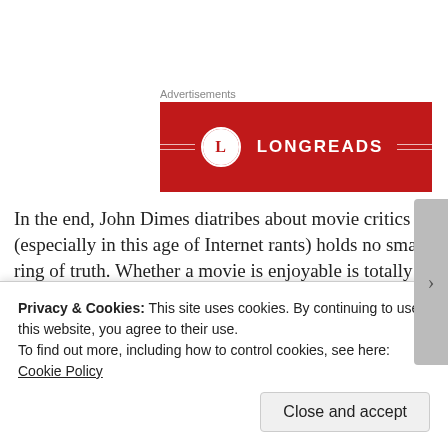Advertisements
[Figure (logo): Longreads advertisement banner with red background, circle L logo and LONGREADS text in white]
In the end, John Dimes diatribes about movie critics (especially in this age of Internet rants) holds no small ring of truth. Whether a movie is enjoyable is totally up to the viewer, not the movie itself. If you change your perspective and avoid some fallacious thinking, you may find much more wonder out there in the
Privacy & Cookies: This site uses cookies. By continuing to use this website, you agree to their use.
To find out more, including how to control cookies, see here: Cookie Policy
Close and accept